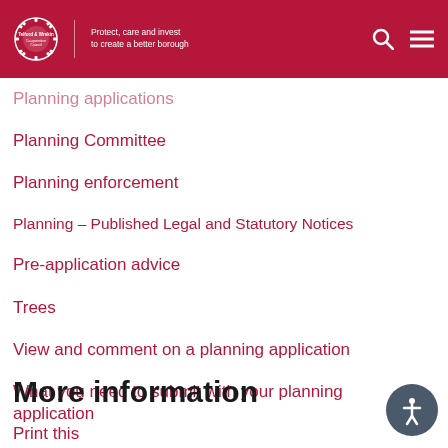Telford & Wrekin Cooperative Council — Protect, care and invest to create a better borough
Planning applications (partial, cut off)
Planning Committee
Planning enforcement
Planning – Published Legal and Statutory Notices
Pre-application advice
Trees
View and comment on a planning application
What you need to submit with your planning application
More information
Print this